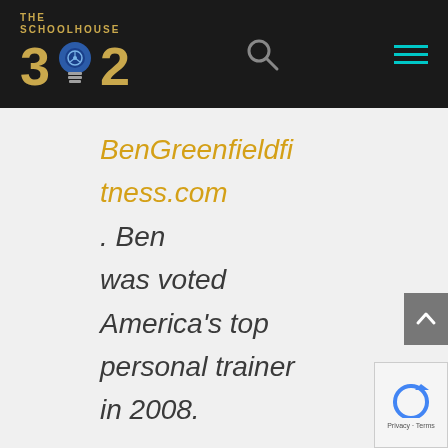[Figure (logo): The Schoolhouse 302 logo with gold numbers '3' and '2', blue lightbulb icon in the middle, on a dark background with teal menu lines and search icon]
BenGreenfieldFitness.com. Ben was voted America's top personal trainer in 2008.
#2 – Strategic Growth
Our second key habit